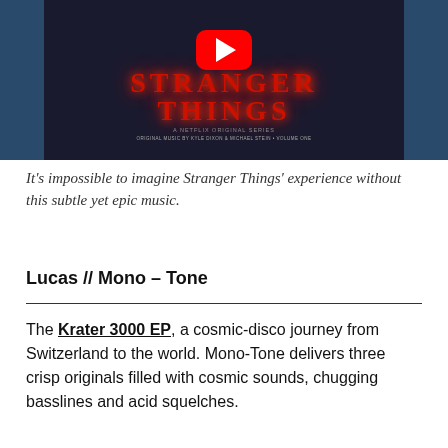[Figure (screenshot): YouTube video thumbnail for the Stranger Things original soundtrack album by Kyle Dixon & Michael Stein, Volume One. Shows the Stranger Things title in red letters with a large YouTube play button overlay. Dark blue background with show imagery.]
It’s impossible to imagine Stranger Things’ experience without this subtle yet epic music.
Lucas // Mono – Tone
The Krater 3000 EP, a cosmic-disco journey from Switzerland to the world. Mono-Tone delivers three crisp originals filled with cosmic sounds, chugging basslines and acid squelches.